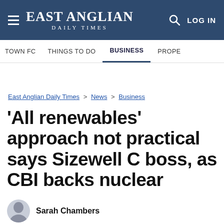EAST ANGLIAN DAILY TIMES
TOWN FC  THINGS TO DO  BUSINESS  PROPE
East Anglian Daily Times > News > Business
'All renewables' approach not practical says Sizewell C boss, as CBI backs nuclear
Sarah Chambers